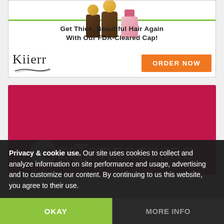[Figure (illustration): Advertisement banner for Kiierr hair growth product. Shows supplement bottles at top, green dividing line, headline text 'Get Thick, Beautiful Hair Again With Our FDA-Cleared Cap!', Kiierr logo on left, orange 'ORDER NOW' button on right.]
[Figure (logo): EINPresswire logo on dark red/crimson background. White circular emblem with '3' partially visible on left, followed by 'EINPRESSWIRE' text in bold white uppercase letters with the 'N' shown in crimson on white background.]
Privacy & cookie use. Our site uses cookies to collect and analyze information on site performance and usage, advertising and to customize our content. By continuing to us this website, you agree to their use.